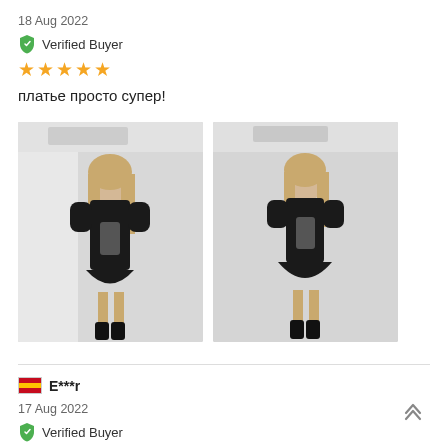18 Aug 2022
Verified Buyer
★★★★★
платье просто супер!
[Figure (photo): Two mirror selfie photos of a person wearing a black dress]
E***r
17 Aug 2022
Verified Buyer
★★★★★
Very fast delivery and very good material